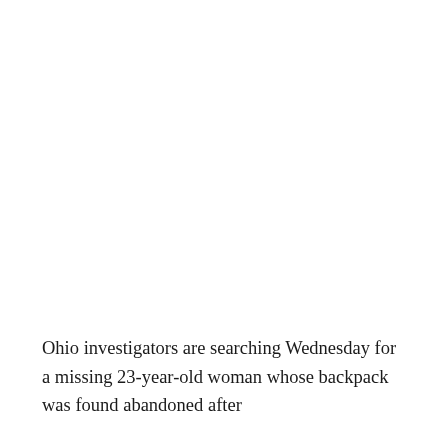Ohio investigators are searching Wednesday for a missing 23-year-old woman whose backpack was found abandoned after